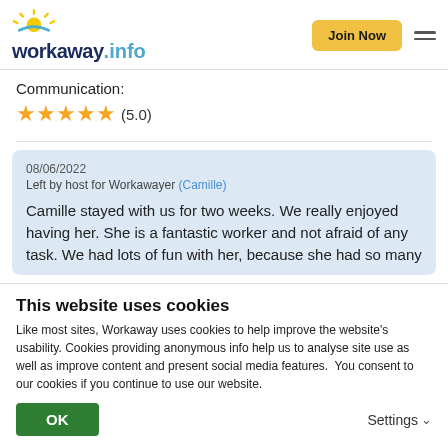workaway.info — Join Now
Communication:
★★★★★ (5.0)
08/06/2022
Left by host for Workawayer (Camille)
Camille stayed with us for two weeks. We really enjoyed having her. She is a fantastic worker and not afraid of any task. We had lots of fun with her, because she had so many
This website uses cookies
Like most sites, Workaway uses cookies to help improve the website's usability. Cookies providing anonymous info help us to analyse site use as well as improve content and present social media features.  You consent to our cookies if you continue to use our website.
OK
Settings